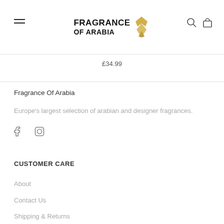FRAGRANCE OF ARABIA [logo with golden bird icon, hamburger menu left, search and bag icons right]
£34.99
Fragrance Of Arabia
Europe's largest selection of arabian and designer fragrances.
[Figure (logo): Facebook and Instagram social media icons]
CUSTOMER CARE
About
Contact Us
Shipping & Returns